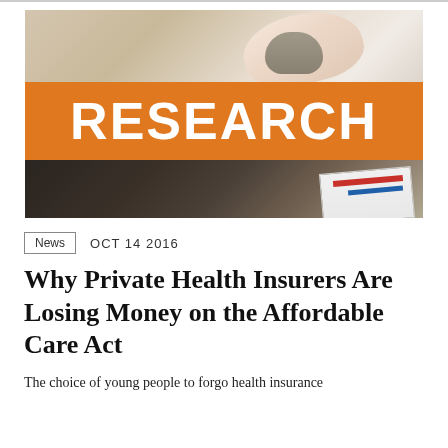[Figure (photo): Hero image with a hand on a computer mouse overlaid with an orange banner reading RESEARCH, with papers visible at bottom right]
News   OCT 14 2016
Why Private Health Insurers Are Losing Money on the Affordable Care Act
The choice of young people to forgo health insurance